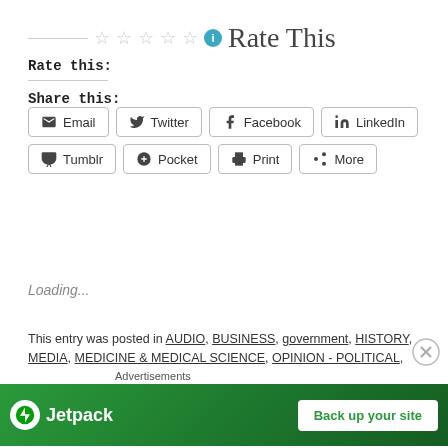Rate This
Rate this:
Share this:
Email
Twitter
Facebook
LinkedIn
Tumblr
Pocket
Print
More
Loading...
This entry was posted in AUDIO, BUSINESS, government, HISTORY, MEDIA, MEDICINE & MEDICAL SCIENCE, OPINION - POLITICAL, OPINION - POLITICAL, SOCIAL, POLITICS/DOMESTIC, POLITICS/INTERNATIONAL, SHOW
Advertisements
[Figure (other): Jetpack advertisement banner with logo and 'Back up your site' button on green background]